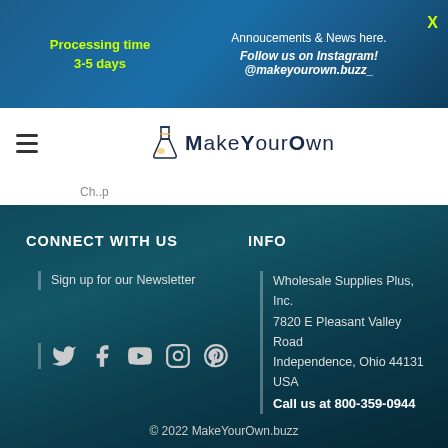Annoucements & News here.
Follow us on Instagram! @makeyourown.buzz_
Processing time 3-5 days
[Figure (logo): MakeYourOwn logo with flask icon and text 'MakeYourOwn']
CONNECT WITH US
Sign up for our Newsletter
[Figure (infographic): Social media icons: Twitter, Facebook, YouTube, Instagram, Pinterest]
INFO
Wholesale Supplies Plus, Inc.
7820 E Pleasant Valley Road
Independence, Ohio 44131
USA
Call us at 800-359-0944
© 2022 MakeYourOwn.buzz